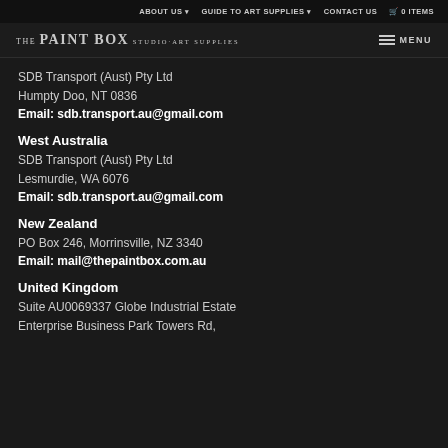ABOUT US ▾   GUIDE TO ART SUPPLIES ▾   CONTACT US   🛒 0 ITEMS
THE PAINT BOX STUDIO·ART SUPPLIES   ≡ MENU
SDB Transport (Aust) Pty Ltd
Humpty Doo, NT 0836
Email: sdb.transport.au@gmail.com
West Australia
SDB Transport (Aust) Pty Ltd
Lesmurdie, WA 6076
Email: sdb.transport.au@gmail.com
New Zealand
PO Box 246, Morrinsville, NZ 3340
Email: mail@thepaintbox.com.au
United Kingdom
Suite AU0069337 Globe Industrial Estate
Enterprise Business Park Towers Rd,